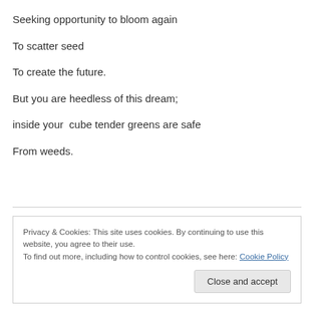Seeking opportunity to bloom again
To scatter seed
To create the future.
But you are heedless of this dream;
inside your  cube tender greens are safe
From weeds.
Privacy & Cookies: This site uses cookies. By continuing to use this website, you agree to their use.
To find out more, including how to control cookies, see here: Cookie Policy